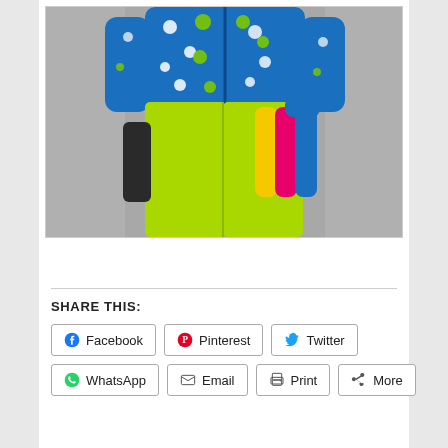[Figure (photo): A person wearing bright neon green pants and a blue polka-dot zip-up jacket, holding a fan of colorful socks (yellow, pink/magenta, and blue), with a black sock visible near the left leg. The background is plain grey.]
SHARE THIS:
Facebook
Pinterest
Twitter
WhatsApp
Email
Print
More